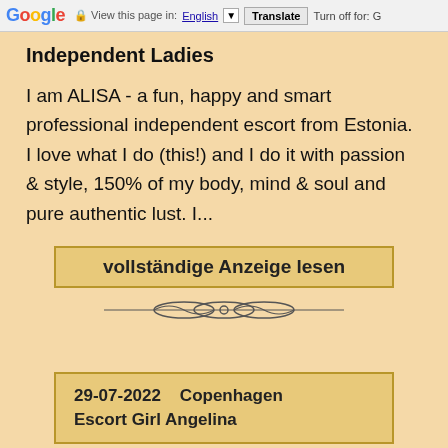Google  View this page in: English  Translate  Turn off for: G
Independent Ladies
I am ALISA - a fun, happy and smart professional independent escort from Estonia. I love what I do (this!) and I do it with passion & style, 150% of my body, mind & soul and pure authentic lust. I...
vollständige Anzeige lesen
[Figure (illustration): Decorative ornamental divider with interlocking loops]
29-07-2022   Copenhagen Escort Girl Angelina
[Figure (photo): Partial photo of a person, cropped at bottom of page]